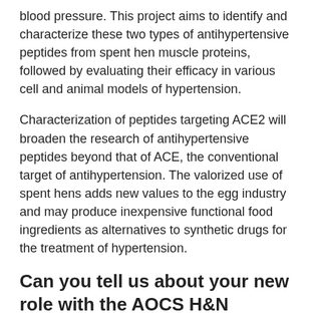blood pressure. This project aims to identify and characterize these two types of antihypertensive peptides from spent hen muscle proteins, followed by evaluating their efficacy in various cell and animal models of hypertension.
Characterization of peptides targeting ACE2 will broaden the research of antihypertensive peptides beyond that of ACE, the conventional target of antihypertension. The valorized use of spent hens adds new values to the egg industry and may produce inexpensive functional food ingredients as alternatives to synthetic drugs for the treatment of hypertension.
Can you tell us about your new role with the AOCS H&N Division?
It has been such a pleasure to serve as the membership liaison for the H&N Division and get more interactions with Division members. As the membership liaison, I help engage members of the Division, through reviewing lapsed membership, reaching out to new members with a welcome and organizing gatherings like midweek mixers within H&N